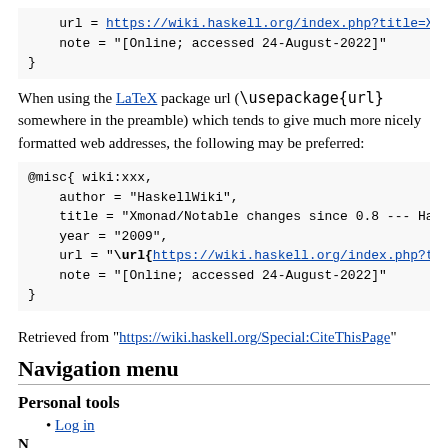url = https://wiki.haskell.org/index.php?title=Xmonad...
    note = "[Online; accessed 24-August-2022]"
}
When using the LaTeX package url (\usepackage{url} somewhere in the preamble) which tends to give much more nicely formatted web addresses, the following may be preferred:
@misc{ wiki:xxx,
    author = "HaskellWiki",
    title = "Xmonad/Notable changes since 0.8 --- HaskellW...
    year = "2009",
    url = "\url{https://wiki.haskell.org/index.php?title=X...
    note = "[Online; accessed 24-August-2022]"
}
Retrieved from "https://wiki.haskell.org/Special:CiteThisPage"
Navigation menu
Personal tools
Log in
N...